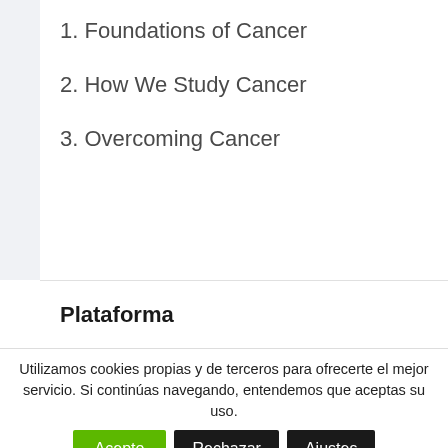1. Foundations of Cancer
2. How We Study Cancer
3. Overcoming Cancer
Plataforma
Utilizamos cookies propias y de terceros para ofrecerte el mejor servicio. Si continúas navegando, entendemos que aceptas su uso.
Leer más